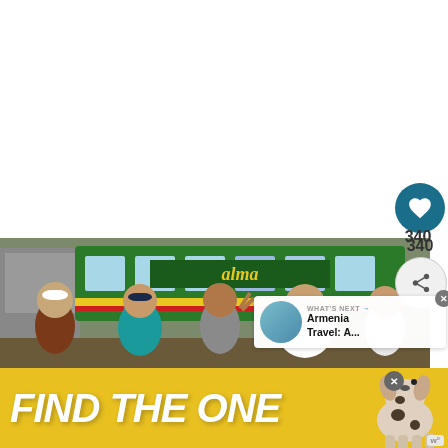[Figure (photo): Group of people smiling in front of a colorful green and yellow bus at what appears to be a bus terminal. Five people visible including a man in a white cap, a woman in a teal floral top, a young man making a peace sign, and two other people. Tropical/Latin American setting.]
[Figure (infographic): Social media sidebar with a teal heart/like button showing count of 340, and a share button below it]
340
[Figure (infographic): What's Next overlay with thumbnail image and text 'Armenia Travel: A...' with arrow]
[Figure (photo): Advertisement banner with yellow background showing text 'FIND THE ONE' in large white italic bold letters, with a dog (dalmatian/spotted) visible on the right side]